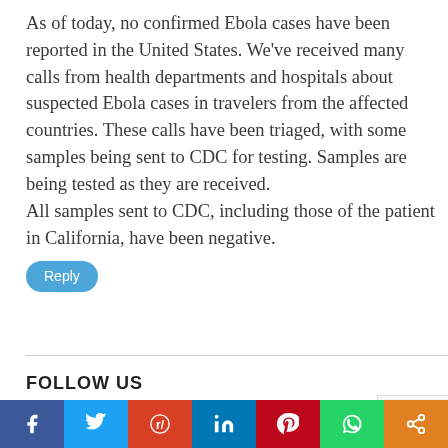As of today, no confirmed Ebola cases have been reported in the United States. We've received many calls from health departments and hospitals about suspected Ebola cases in travelers from the affected countries. These calls have been triaged, with some samples being sent to CDC for testing. Samples are being tested as they are received. All samples sent to CDC, including those of the patient in California, have been negative.
Reply
FOLLOW US
[Figure (other): Social media icons: Twitter (X), Facebook, LinkedIn in circular outlines]
[Figure (other): reCAPTCHA widget partial view]
[Figure (infographic): Bottom social share bar with buttons: Facebook (blue), Twitter (light blue), Reddit (orange-red), LinkedIn (dark blue), Pinterest (red), WhatsApp (green), Share (orange)]